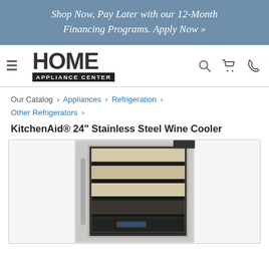Shop Now, Pay Later with our 12-Month Financing Programs. Apply Now »
[Figure (logo): Home Appliance Center logo with hamburger menu, search, cart, and phone icons]
Our Catalog › Appliances › Refrigeration › Other Refrigerators ›
KitchenAid® 24" Stainless Steel Wine Cooler
[Figure (photo): KitchenAid 24 inch stainless steel wine cooler with glass door showing wooden wine racks inside]